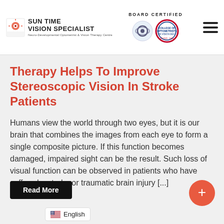SUN TIME VISION SPECIALIST — BOARD CERTIFIED
Therapy Helps To Improve Stereoscopic Vision In Stroke Patients
Humans view the world through two eyes, but it is our brain that combines the images from each eye to form a single composite picture. If this function becomes damaged, impaired sight can be the result. Such loss of visual function can be observed in patients who have suffered a stroke or traumatic brain injury [...]